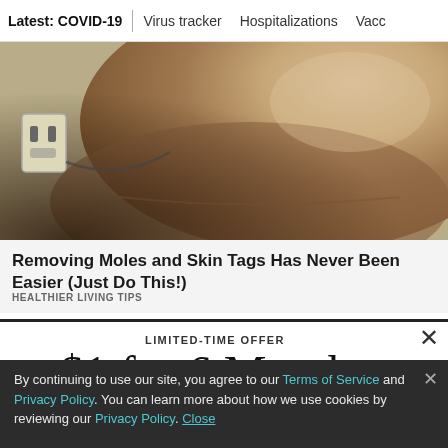Latest: COVID-19 | Virus tracker | Hospitalizations | Vacc
[Figure (photo): Close-up photo of a person's chin and neck area, showing skin texture. An electrical outlet and cord are visible in the background.]
Removing Moles and Skin Tags Has Never Been Easier (Just Do This!)
HEALTHIER LIVING TIPS
LIMITED-TIME OFFER
$1 for 6 Months
SUBSCRIBE NOW
By continuing to use our site, you agree to our Terms of Service and Privacy Policy. You can learn more about how we use cookies by reviewing our Privacy Policy. Close